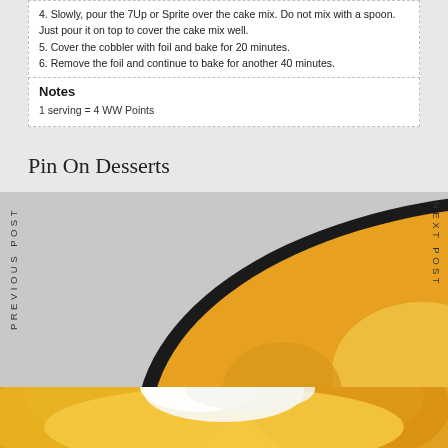4. Slowly, pour the 7Up or Sprite over the cake mix. Do not mix with a spoon. Just pour it on top to cover the cake mix well.
5. Cover the cobbler with foil and bake for 20 minutes.
6. Remove the foil and continue to bake for another 40 minutes.
Notes
1 serving = 4 WW Points
Pin On Desserts
PREVIOUS POST
NEXT POST
[Figure (photo): A golden yellow cobbler baked in a round cast iron skillet, topped with a dollop of white whipped cream, viewed from above]